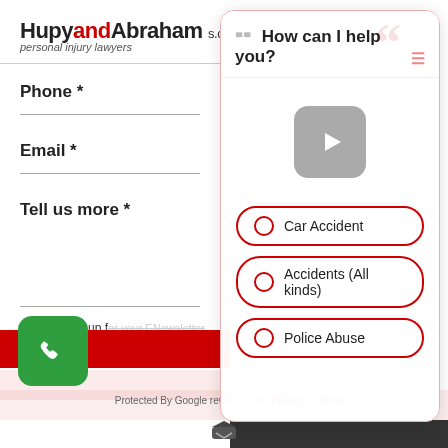HupyandAbraham s.c. personal injury lawyers
Phone *
Email *
Tell us more *
ase sign me up for your ENewsletter
[Figure (screenshot): Chat widget overlay with header 'How can I help you?' and a video play button, plus radio button options: Car Accident, Accidents (All kinds), Police Abuse]
Protected By Google reCAPTCHA Privacy Terms